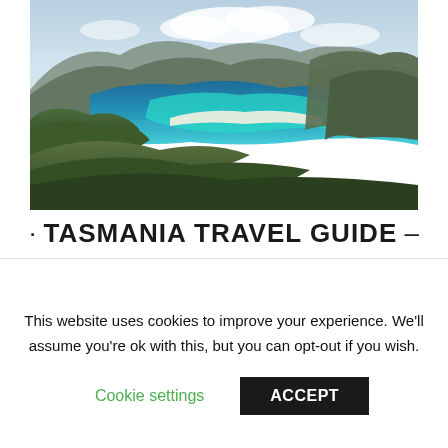[Figure (photo): Aerial panoramic view of Wineglass Bay, Tasmania — turquoise bay with white sandy beach surrounded by forested granite mountains under a partly cloudy sky]
· TASMANIA TRAVEL GUIDE –
This Tasmania Travel Guide is designed
This website uses cookies to improve your experience. We'll assume you're ok with this, but you can opt-out if you wish.
Cookie settings   ACCEPT